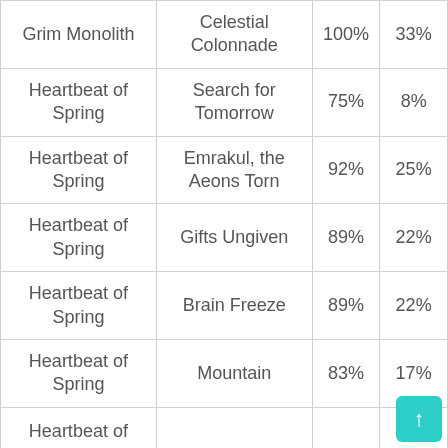|  |  |  |  |
| --- | --- | --- | --- |
| Grim Monolith | Celestial Colonnade | 100% | 33% |
| Heartbeat of Spring | Search for Tomorrow | 75% | 8% |
| Heartbeat of Spring | Emrakul, the Aeons Torn | 92% | 25% |
| Heartbeat of Spring | Gifts Ungiven | 89% | 22% |
| Heartbeat of Spring | Brain Freeze | 89% | 22% |
| Heartbeat of Spring | Mountain | 83% | 17% |
| Heartbeat of | … |  |  |